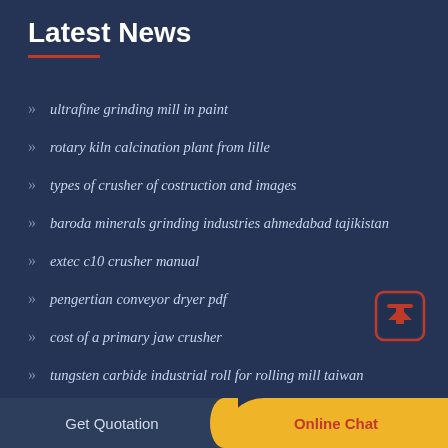Latest News
ultrafine grinding mill in paint
rotary kiln calcination plant from lille
types of crusher of costruction and images
baroda minerals grinding industries ahmedabad tajikistan
extec c10 crusher manual
pengertian conveyor dryer pdf
cost of a primary jaw crusher
tungsten carbide industrial roll for rolling mill taiwan
jaw crusher plate dimension in nantes
[Figure (illustration): Orange scroll-to-top button icon with rounded rectangle border and upward arrow]
Get Quotation   Online Chat